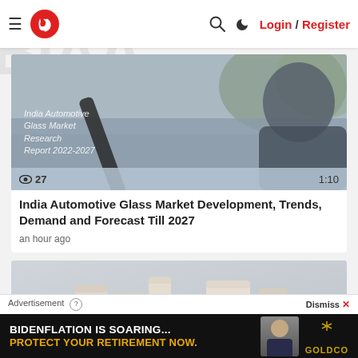≡ [Logo] 🔍 ☽ Login / Register
[Figure (screenshot): Video thumbnail showing a person in a car with a seatbelt. Overlay text reads 'India Automotive Glass Market Research Report 2022-2027'. Bottom bar shows 27 views and duration 1:10.]
India Automotive Glass Market Development, Trends, Demand and Forecast Till 2027
an hour ago
[Figure (photo): Partial thumbnail showing paper/ceramic cups and containers on a surface.]
Advertisement ⓘ
Dismiss ✕
[Figure (screenshot): Advertisement banner with dark background. Text: 'BIDENFLATION IS SOARING... PROTECT YOUR RETIREMENT NOW.' with a photo of a man and Goldco logo.]